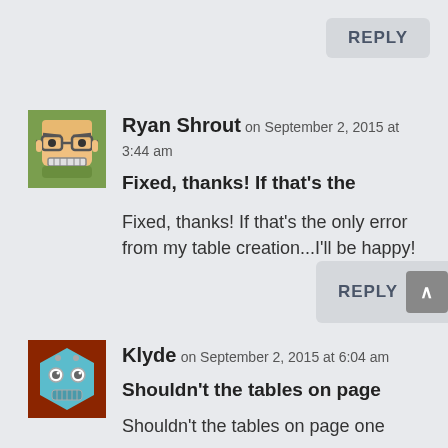REPLY
[Figure (illustration): Avatar of Ryan Shrout - cartoon face with glasses, angry expression, green background]
Ryan Shrout on September 2, 2015 at 3:44 am
Fixed, thanks! If that’s the
Fixed, thanks! If that's the only error from my table creation...I'll be happy!
REPLY
[Figure (illustration): Avatar of Klyde - teal hexagon robot face on dark red/brown background]
Klyde on September 2, 2015 at 6:04 am
Shouldn’t the tables on page
Shouldn’t the tables on page one